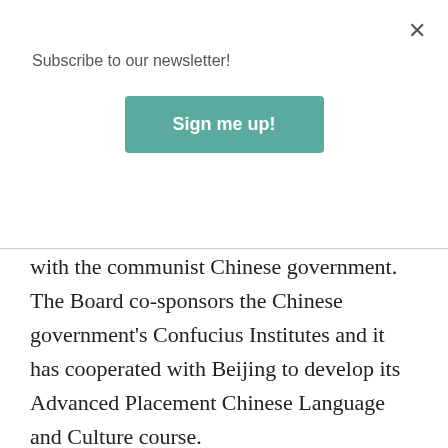Subscribe to our newsletter!
with the communist Chinese government. The Board co-sponsors the Chinese government's Confucius Institutes and it has cooperated with Beijing to develop its Advanced Placement Chinese Language and Culture course.
The College Board faces limited competition, and millions of Americans and thousands of school districts have little choice but to use the College Board's assessments. The College